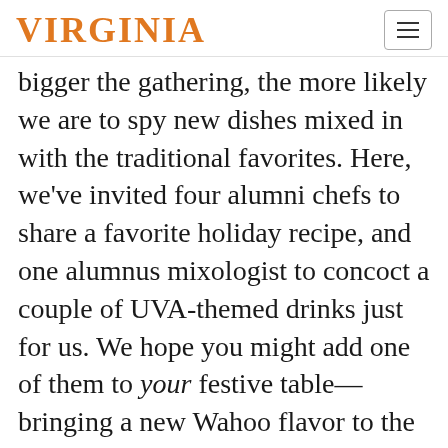VIRGINIA
bigger the gathering, the more likely we are to spy new dishes mixed in with the traditional favorites. Here, we’ve invited four alumni chefs to share a favorite holiday recipe, and one alumnus mixologist to concoct a couple of UVA-themed drinks just for us. We hope you might add one of them to your festive table—bringing a new Wahoo flavor to the celebration.